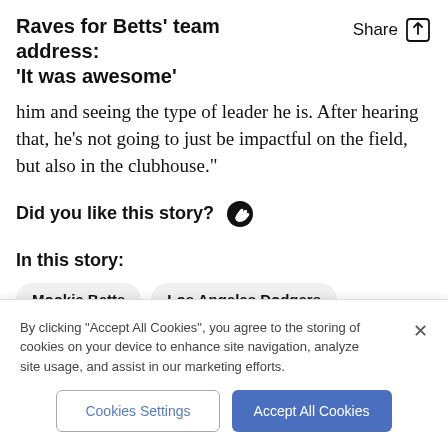Raves for Betts' team address: 'It was awesome'
him and seeing the type of leader he is. After hearing that, he’s not going to just be impactful on the field, but also in the clubhouse.”
Did you like this story?
In this story:
Mookie Betts
Los Angeles Dodgers
By clicking “Accept All Cookies”, you agree to the storing of cookies on your device to enhance site navigation, analyze site usage, and assist in our marketing efforts.
Cookies Settings
Accept All Cookies